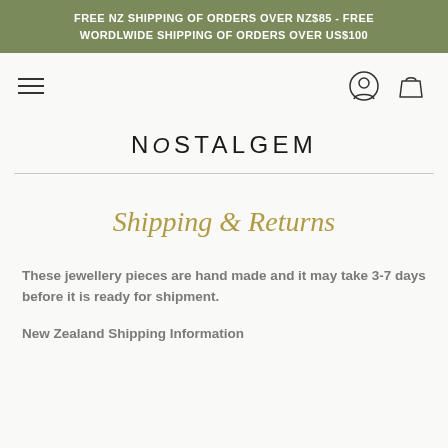FREE NZ SHIPPING OF ORDERS OVER NZ$85 - FREE WORDLWIDE SHIPPING OF ORDERS OVER US$100
NOSTALGEM
Shipping & Returns
These jewellery pieces are hand made and it may take 3-7 days before it is ready for shipment.
New Zealand Shipping Information